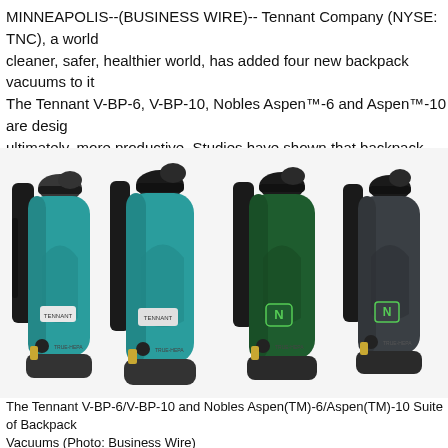MINNEAPOLIS--(BUSINESS WIRE)-- Tennant Company (NYSE: TNC), a world cleaner, safer, healthier world, has added four new backpack vacuums to it The Tennant V-BP-6, V-BP-10, Nobles Aspen™-6 and Aspen™-10 are desig ultimately, more productive. Studies have shown that backpack vacuums canister model, addressing one of the highest ranking concerns facing fa
[Figure (photo): Four backpack vacuum cleaners shown side by side. The two on the left are teal/turquoise colored with Tennant branding and TRUE-HEPA labels. The two on the right are dark green with Nobles (N) branding and TRUE-HEPA labels. All four have black backpack harnesses and gray/black bases.]
The Tennant V-BP-6/V-BP-10 and Nobles Aspen(TM)-6/Aspen(TM)-10 Suite of Backpack Vacuums (Photo: Business Wire)